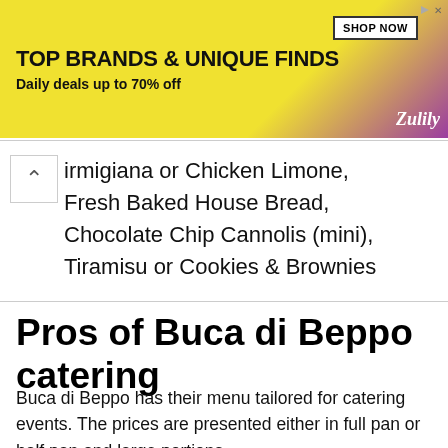[Figure (screenshot): Zulily advertisement banner: yellow background with text 'TOP BRANDS & UNIQUE FINDS' and 'Daily deals up to 70% off', shoes and handbag image, SHOP NOW button, purple gradient with Zulily logo]
irmigiana or Chicken Limone, Fresh Baked House Bread, Chocolate Chip Cannolis (mini), Tiramisu or Cookies & Brownies
Pros of Buca di Beppo catering
Buca di Beppo has their menu tailored for catering events. The prices are presented either in full pan or half pan and large portions.
There is also an option of hosting your event in